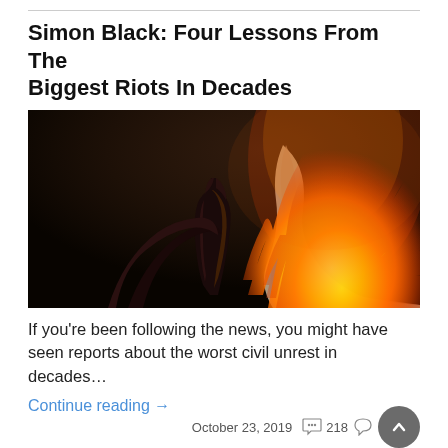Simon Black: Four Lessons From The Biggest Riots In Decades
[Figure (photo): A hand holding a Molotov cocktail with flames burning brightly against a dark background — a burning bottle with cloth wick on fire, dark/blurred environment.]
If you're been following the news, you might have seen reports about the worst civil unrest in decades…
Continue reading →
October 23, 2019